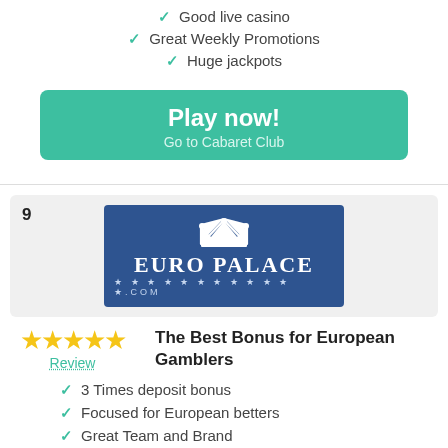Good live casino
Great Weekly Promotions
Huge jackpots
Play now! Go to Cabaret Club
[Figure (logo): Euro Palace casino logo - blue background with white crown and EURO PALACE text with stars and .com]
Review
The Best Bonus for European Gamblers
3 Times deposit bonus
Focused for European betters
Great Team and Brand
Play now!